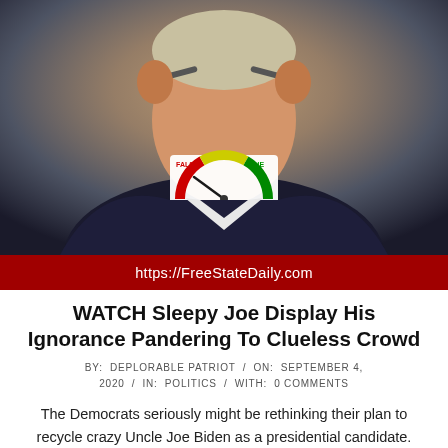[Figure (photo): Photo of an older man adjusting his glasses/headset at a podium, with an American flag in the background and a superimposed fact-check meter graphic showing red/yellow/green zones labeled FALSE and TRUE]
https://FreeStateDaily.com
WATCH Sleepy Joe Display His Ignorance Pandering To Clueless Crowd
BY:  DEPLORABLE PATRIOT  /  ON:  SEPTEMBER 4, 2020  /  IN:  POLITICS  /  WITH:  0 COMMENTS
The Democrats seriously might be rethinking their plan to recycle crazy Uncle Joe Biden as a presidential candidate. On the campaign trail, what little there has been of it in the age of COVID and Biden hiden' in his basement for so long, the man has been busy living up